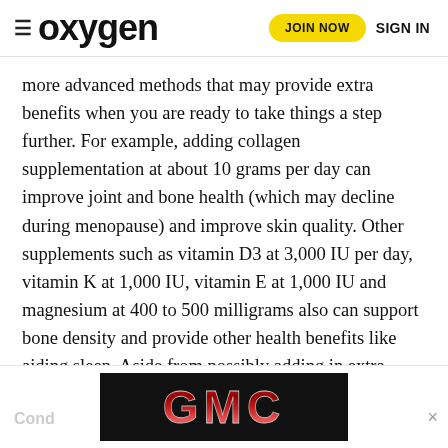oxygen | JOIN NOW | SIGN IN
more advanced methods that may provide extra benefits when you are ready to take things a step further. For example, adding collagen supplementation at about 10 grams per day can improve joint and bone health (which may decline during menopause) and improve skin quality. Other supplements such as vitamin D3 at 3,000 IU per day, vitamin K at 1,000 IU, vitamin E at 1,000 IU and magnesium at 400 to 500 milligrams also can support bone density and provide other health benefits like aiding sleep. Aside from possibly adding in extra supplements, it's important to remember that strength training or MRT will improve bone density to a greater extent than any single supplement.
[Figure (logo): GMC logo advertisement banner on black background]
Cond